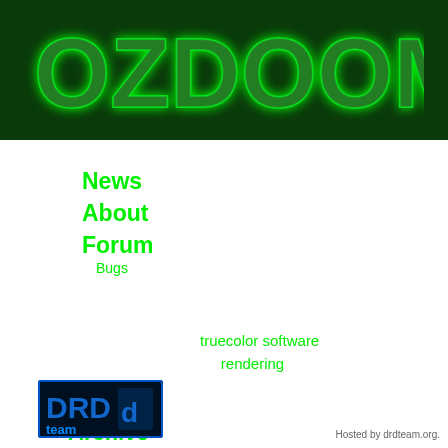[Figure (logo): OZDOOM logo text in green circuit-board style lettering on dark green background]
News
About
Forum
Bugs
truecolor software rendering
Current
Archive
Git Builds
Source
Libraries
[Figure (logo): DRD Team logo - blue and black with DRD team text]
Hosted by drdteam.org.